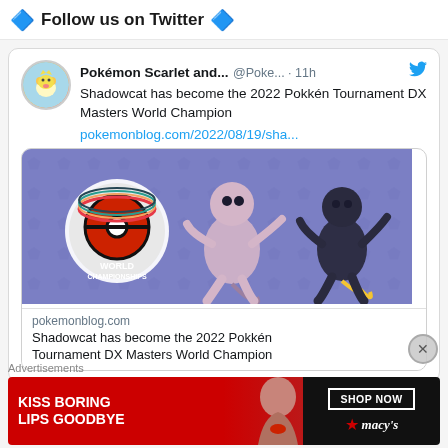🔷 Follow us on Twitter 🔷
Pokémon Scarlet and... @Poke... · 11h
Shadowcat has become the 2022 Pokkén Tournament DX Masters World Champion
pokemonblog.com/2022/08/19/sha...
[Figure (screenshot): Tweet image card showing Pokémon World Championships logo with Mewtwo and Shadow Mewtwo figurines on a purple background with Pokémon pattern. Below: pokemonblog.com domain and title 'Shadowcat has become the 2022 Pokkén Tournament DX Masters World Champion']
Advertisements
[Figure (illustration): Macy's advertisement banner: red background on left with text 'KISS BORING LIPS GOODBYE', dark background on right with 'SHOP NOW' button and macy's star logo. Woman's face with red lips visible.]